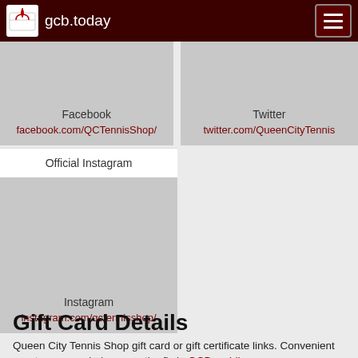gcb.today
Facebook
facebook.com/QCTennisShop/
Twitter
twitter.com/QueenCityTennis
Official Instagram
Instagram
instagram.com/qctennisshop/
Gift Card Details
Queen City Tennis Shop gift card or gift certificate links. Convenient way to manage balance on the fly in GCB mobile app.